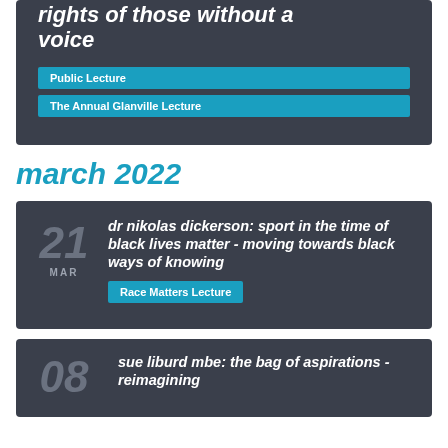rights of those without a voice
Public Lecture
The Annual Glanville Lecture
march 2022
21 MAR
dr nikolas dickerson: sport in the time of black lives matter - moving towards black ways of knowing
Race Matters Lecture
08
sue liburd mbe: the bag of aspirations - reimagining